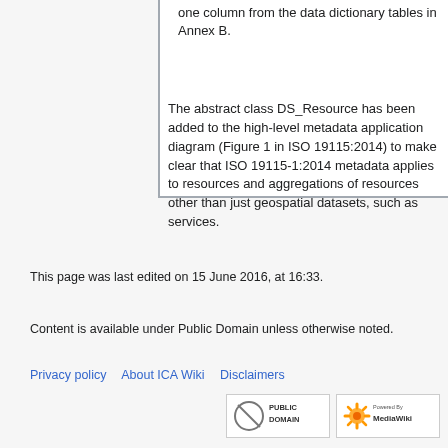one column from the data dictionary tables in Annex B.
The abstract class DS_Resource has been added to the high-level metadata application diagram (Figure 1 in ISO 19115:2014) to make clear that ISO 19115-1:2014 metadata applies to resources and aggregations of resources other than just geospatial datasets, such as services.
This page was last edited on 15 June 2016, at 16:33.
Content is available under Public Domain unless otherwise noted.
Privacy policy    About ICA Wiki    Disclaimers
[Figure (logo): Public Domain badge and MediaWiki powered badge]